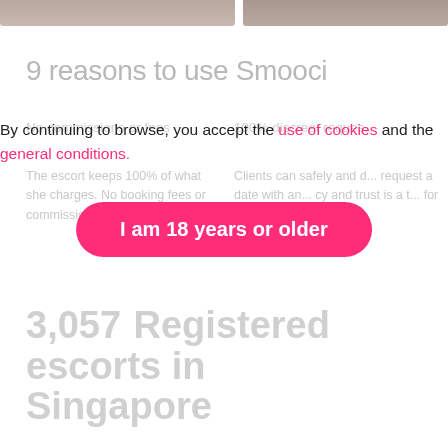[Figure (photo): Two partial cropped photos at the top of the page, cut off at the top edge]
9 reasons to use Smooci
No commissions or fees ... 100% discreet reques...
By continuing to browse, you accept the use of cookies and the general conditions.
The escort keeps 100% of what she charges. No booking fees or commissions charged by Smooci.
Clients can safely and discreetly request a date with an escort. Privacy and trust is a top priority for Smooci.
[Figure (other): Pink rounded button labeled 'I am 18 years or older']
3,057 Registered escorts in Singapore